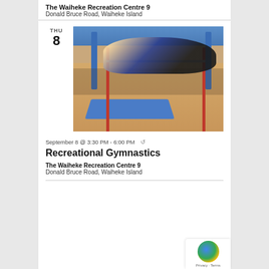The Waiheke Recreation Centre 9
Donald Bruce Road, Waiheke Island
THU
8
[Figure (photo): Two female gymnasts performing on uneven bars in a gymnasium, wearing blue and black leotards, with spectators seated in background and red gymnastic bar equipment and blue mats visible]
September 8 @ 3:30 PM - 6:00 PM  ↺
Recreational Gymnastics
The Waiheke Recreation Centre 9
Donald Bruce Road, Waiheke Island